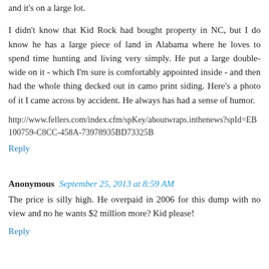and it's on a large lot.
I didn't know that Kid Rock had bought property in NC, but I do know he has a large piece of land in Alabama where he loves to spend time hunting and living very simply. He put a large double-wide on it - which I'm sure is comfortably appointed inside - and then had the whole thing decked out in camo print siding. Here's a photo of it I came across by accident. He always has had a sense of humor.
http://www.fellers.com/index.cfm/spKey/aboutwraps.inthenews?spId=EB100759-C8CC-458A-73978935BD73325B
Reply
Anonymous  September 25, 2013 at 8:59 AM
The price is silly high. He overpaid in 2006 for this dump with no view and no he wants $2 million more? Kid please!
Reply